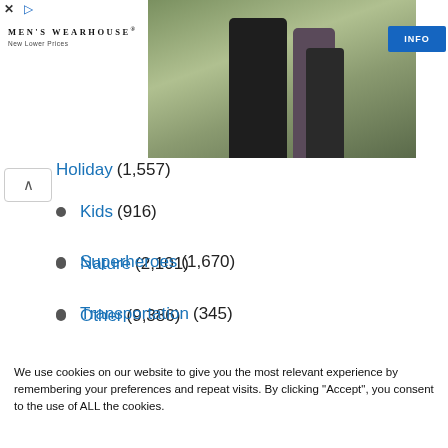[Figure (screenshot): Men's Wearhouse advertisement banner with logo, photo of couple in formal wear, and INFO button]
Holiday (1,557)
Kids (916)
Nature (2,101)
Other (9,386)
Sport (463)
Superheroes (1,670)
Transportation (345)
We use cookies on our website to give you the most relevant experience by remembering your preferences and repeat visits. By clicking “Accept”, you consent to the use of ALL the cookies.
Do not sell my personal information.